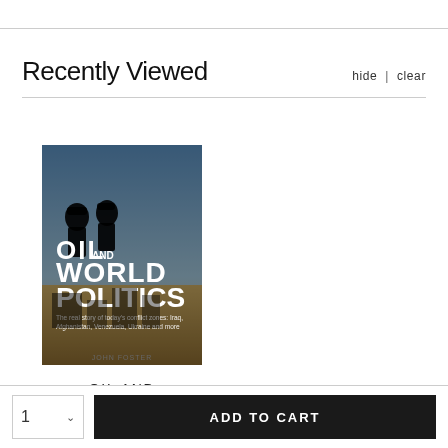Recently Viewed
hide | clear
[Figure (photo): Book cover of 'Oil and World Politics' by John Foster. Dark silhouettes of soldiers against a sky background with bold white text reading OIL AND WORLD POLITICS. Subtitle reads: The real story of today's conflict zones: Iraq, Afghanistan, Venezuela, Ukraine and more.]
OIL AND WORLD...
by John Foster
$27.95
1
ADD TO CART